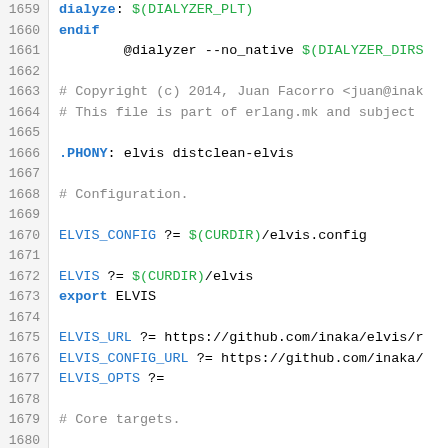[Figure (screenshot): Source code listing showing Makefile/Erlang build script lines 1659-1688 with syntax highlighting. Blue keywords, green variables, red string literals on pink background, gray comments, and line numbers in left gutter.]